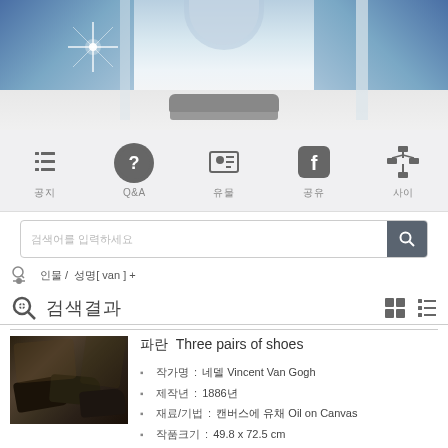[Figure (photo): Museum hall interior with blue water lily murals on walls and a long conference table in the center, with bright star flare on left side]
[Figure (infographic): Navigation bar with 5 icons: list/menu icon, Q&A question mark icon, ID card icon, Facebook icon, and org chart/sitemap icon, each with Korean labels below]
Search input field with search button
인물 /  성명[ van ] +
검색결과
Three pairs of shoes — 작가명: 네델 Vincent Van Gogh; 제작연도: 1886년; 재료/기법: 캔버스에 유채 Oil on Canvas; 작품크기: 49.8 x 72.5 cm; 소장처: 미국-포그미술관(하버드대) Harvard University Art